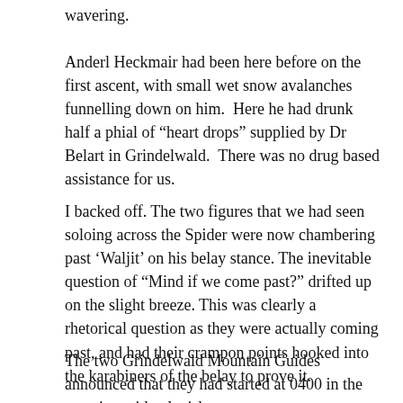wavering.
Anderl Heckmair had been here before on the first ascent, with small wet snow avalanches funnelling down on him.  Here he had drunk half a phial of “heart drops” supplied by Dr Belart in Grindelwald.  There was no drug based assistance for us.
I backed off. The two figures that we had seen soloing across the Spider were now chambering past ‘Waljit’ on his belay stance. The inevitable question of “Mind if we come past?” drifted up on the slight breeze. This was clearly a rhetorical question as they were actually coming past, and had their crampon points hooked into the karabiners of the belay to prove it.
The two Grindelwald Mountain Guides announced that they had started at 0400 in the morning with a lavish breakfast at Kleine Scheidegg and during the foresight